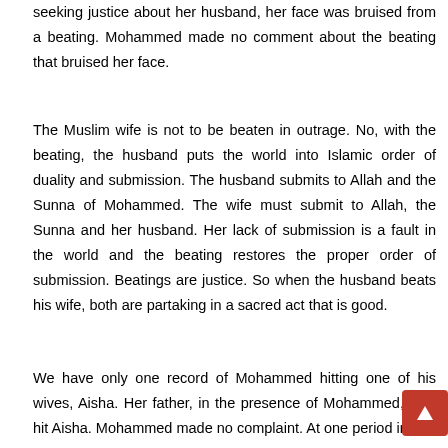seeking justice about her husband, her face was bruised from a beating. Mohammed made no comment about the beating that bruised her face.
The Muslim wife is not to be beaten in outrage. No, with the beating, the husband puts the world into Islamic order of duality and submission. The husband submits to Allah and the Sunna of Mohammed. The wife must submit to Allah, the Sunna and her husband. Her lack of submission is a fault in the world and the beating restores the proper order of submission. Beatings are justice. So when the husband beats his wife, both are partaking in a sacred act that is good.
We have only one record of Mohammed hitting one of his wives, Aisha. Her father, in the presence of Mohammed, also hit Aisha. Mohammed made no complaint. At one period in